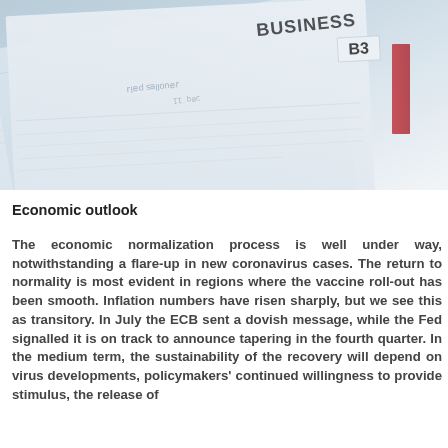[Figure (photo): Close-up photo of stacked newspapers, showing folded pages with visible text including 'BUSINESS' and 'B3' section label. A red bookmark or tab is visible on the right side.]
Economic outlook
The economic normalization process is well under way, notwithstanding a flare-up in new coronavirus cases. The return to normality is most evident in regions where the vaccine roll-out has been smooth. Inflation numbers have risen sharply, but we see this as transitory. In July the ECB sent a dovish message, while the Fed signalled it is on track to announce tapering in the fourth quarter. In the medium term, the sustainability of the recovery will depend on virus developments, policymakers' continued willingness to provide stimulus, the release of